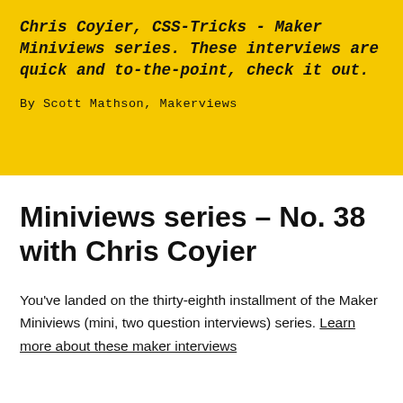Chris Coyier, CSS-Tricks - Maker Miniviews series. These interviews are quick and to-the-point, check it out.
By Scott Mathson, Makerviews
Miniviews series - No. 38 with Chris Coyier
You've landed on the thirty-eighth installment of the Maker Miniviews (mini, two question interviews) series. Learn more about these maker interviews